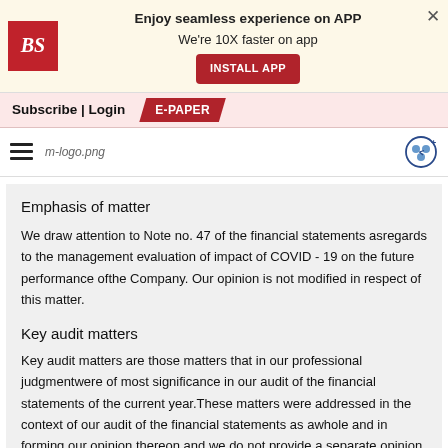Enjoy seamless experience on APP
We're 10X faster on app
INSTALL APP
Subscribe | Login  E-PAPER
[Figure (logo): Business Standard BS logo and m-logo.png navigation bar with share icon]
Emphasis of matter
We draw attention to Note no. 47 of the financial statements asregards to the management evaluation of impact of COVID - 19 on the future performance ofthe Company. Our opinion is not modified in respect of this matter.
Key audit matters
Key audit matters are those matters that in our professional judgmentwere of most significance in our audit of the financial statements of the current year.These matters were addressed in the context of our audit of the financial statements as awhole and in forming our opinion thereon and we do not provide a separate opinion onthese matters. In addition to the matters described in the Material Uncertainty related toGoing Concern